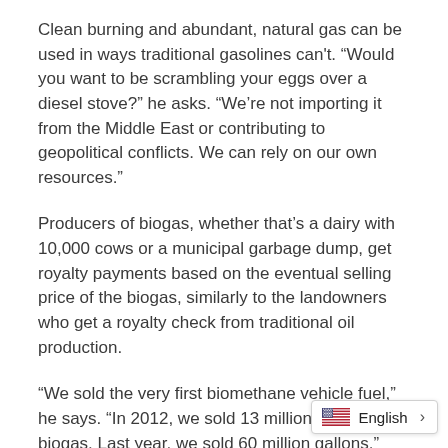Clean burning and abundant, natural gas can be used in ways traditional gasolines can't. “Would you want to be scrambling your eggs over a diesel stove?” he asks. “We’re not importing it from the Middle East or contributing to geopolitical conflicts. We can rely on our own resources.”
Producers of biogas, whether that’s a dairy with 10,000 cows or a municipal garbage dump, get royalty payments based on the eventual selling price of the biogas, similarly to the landowners who get a royalty check from traditional oil production.
“We sold the very first biomethane vehicle fuel,” he says. “In 2012, we sold 13 million gallons of biogas. Last year, we sold 60 million gallons.”
Clean Energy’s biogas production business was purchased in March 2017 by global fuels giant BP, and Clay became BP’s vice president of strategic developm…